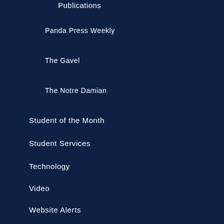Publications
Panda Press Weekly
The Gavel
The Notre Damian
Student of the Month
Student Services
Technology
Video
Website Alerts
ARCHIVES
2022 (97)
2021 (103)
2020 (100)
2019 (177)